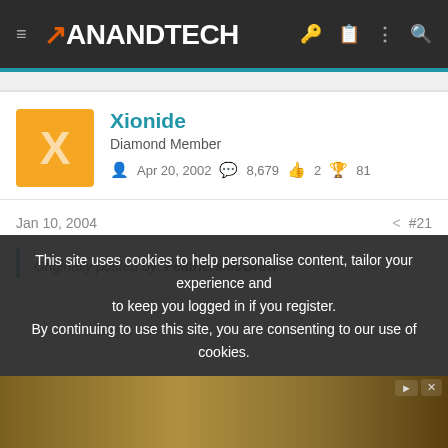AnandTech
Xionide
Diamond Member
Apr 20, 2002   8,679   2   81
Jan 10, 2004   #21
Originally posted by: FeathersMcGraw
Originally posted by: Greyd
The comic books are SOOOOO much better
This site uses cookies to help personalise content, tailor your experience and to keep you logged in if you register.
By continuing to use this site, you are consenting to our use of cookies.